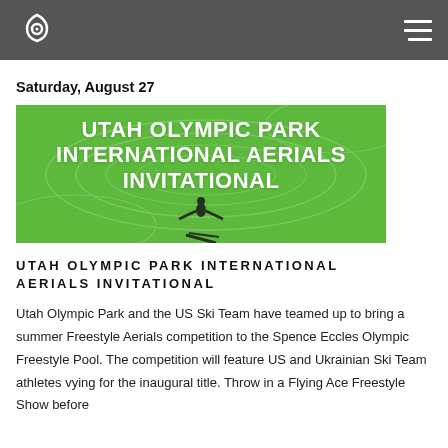Saturday, August 27
[Figure (illustration): Green banner image with white bold text reading UTAH OLYMPIC PARK INTERNATIONAL AERIALS INVITATIONAL and a silhouette of a skier at the bottom]
UTAH OLYMPIC PARK INTERNATIONAL AERIALS INVITATIONAL
Utah Olympic Park and the US Ski Team have teamed up to bring a summer Freestyle Aerials competition to the Spence Eccles Olympic Freestyle Pool. The competition will feature US and Ukrainian Ski Team athletes vying for the inaugural title. Throw in a Flying Ace Freestyle Show before